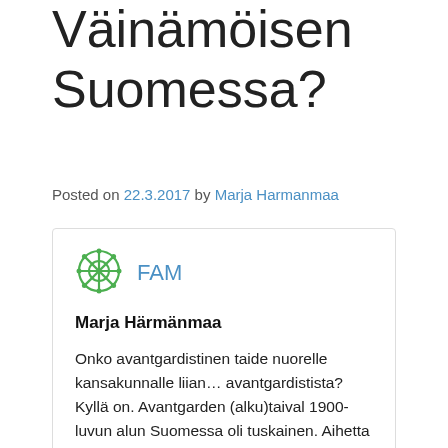Väinämöisen Suomessa?
Posted on 22.3.2017 by Marja Harmanmaa
[Figure (logo): Green ornamental/snowflake-style circular logo for FAM]
FAM
Marja Härmänmaa
Onko avantgardistinen taide nuorelle kansakunnalle liian… avantgardistista? Kyllä on. Avantgarden (alku)taival 1900-luvun alun Suomessa oli tuskainen. Aihetta on käsitellyt mm. amerikansuomalainen Nikolai Sadik-Ogli